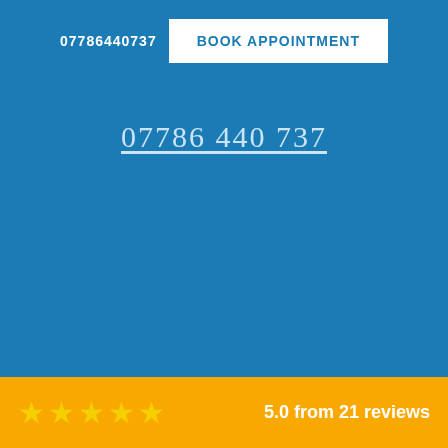07786440737
BOOK APPOINTMENT
07786 440 737
5.0 from 21 reviews